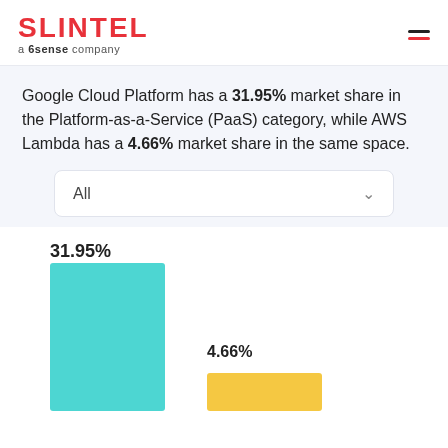SLINTEL a 6sense company
Google Cloud Platform has a 31.95% market share in the Platform-as-a-Service (PaaS) category, while AWS Lambda has a 4.66% market share in the same space.
[Figure (bar-chart): Market Share Comparison]